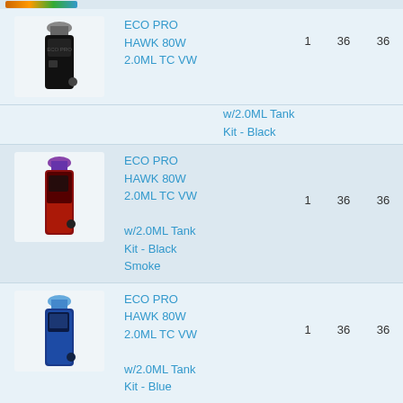| Image | Product Name | Qty | Col3 | Col4 |
| --- | --- | --- | --- | --- |
| [image: black vape kit] | ECO PRO HAWK 80W 2.0ML TC VW w/2.0ML Tank Kit - Black | 1 | 36 | 36 |
| [image: smoke vape kit] | ECO PRO HAWK 80W 2.0ML TC VW w/2.0ML Tank Kit - Black Smoke | 1 | 36 | 36 |
| [image: blue vape kit] | ECO PRO HAWK 80W 2.0ML TC VW w/2.0ML Tank Kit - Blue | 1 | 36 | 36 |
| [image: colorful vape kit] | ECO PRO HAWK 80W 2.0ML TC VW w/2.0ML Tank Kit - [partial] | 1 | 36 | 36 |